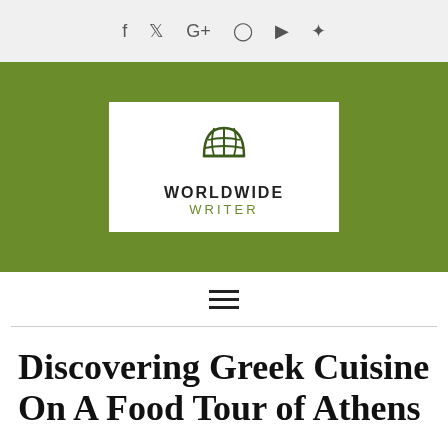f  ⟨twitter⟩  G+  ⟨instagram⟩  ⟨youtube⟩  ⟨pinterest⟩
[Figure (logo): Worldwide Writer logo: globe icon above text 'WORLDWIDE WRITER' on white box with green background]
[Figure (other): Hamburger menu icon (three horizontal bars)]
Discovering Greek Cuisine On A Food Tour of Athens